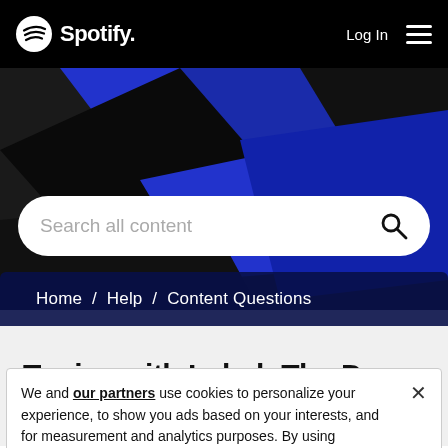Spotify  Log In  [menu]
[Figure (screenshot): Spotify hero banner with blue and black geometric diagonal shapes]
Search all content
Home / Help / Content Questions
Topics with Label: The Doors
We and our partners use cookies to personalize your experience, to show you ads based on your interests, and for measurement and analytics purposes. By using